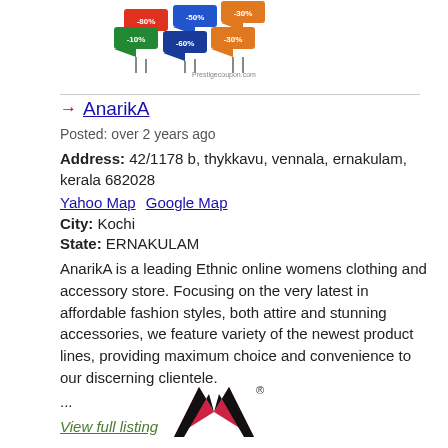[Figure (logo): Coupon/discount tags with percentage labels (-80%, -50%, -10%, -60%, -30%) and text 'Prestigecoupon.com' below]
AnarikA
Posted: over 2 years ago
Address: 42/1178 b, thykkavu, vennala, ernakulam, kerala 682028
Yahoo Map   Google Map
City: Kochi
State: ERNAKULAM
AnarikA is a leading Ethnic online womens clothing and accessory store. Focusing on the very latest in affordable fashion styles, both attire and stunning accessories, we feature variety of the newest product lines, providing maximum choice and convenience to our discerning clientele.
...
View full listing
[Figure (logo): MV logo with registered trademark symbol - black and pink/red M-shape with V below and R in circle]